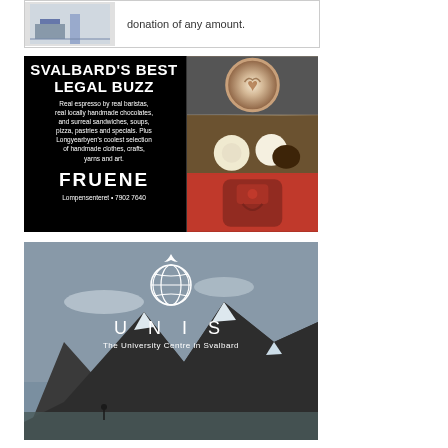[Figure (other): Top advertisement banner with building image and text 'donation of any amount.']
[Figure (other): Fruene cafe advertisement on black background. Text: SVALBARD'S BEST LEGAL BUZZ. Real espresso by real baristas, real locally handmade chocolates, and surreal sandwiches, soups, pizza, pastries and specials. Plus Longyearbyen's coolest selection of handmade clothes, crafts, yarns and art. FRUENE. Lompensenteret • 7902 7640. Right side shows images of coffee, chocolates, and a red backpack.]
[Figure (other): UNIS - The University Centre in Svalbard advertisement. Globe logo, text UNIS, tagline 'The University Centre in Svalbard'. Background shows arctic mountain landscape.]